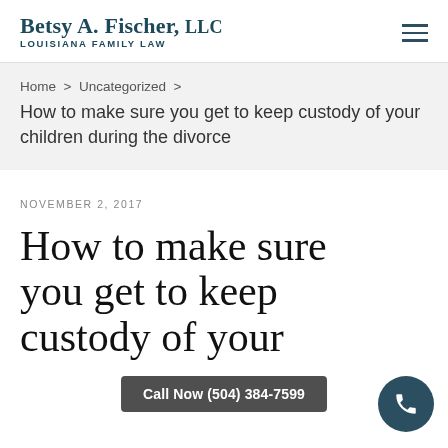Betsy A. Fischer, LLC — LOUISIANA FAMILY LAW
Home > Uncategorized > How to make sure you get to keep custody of your children during the divorce
NOVEMBER 2, 2017
How to make sure you get to keep custody of your